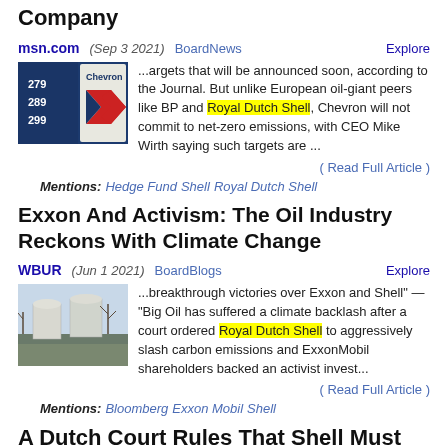Company
msn.com (Sep 3 2021)  BoardNews  Explore
[Figure (photo): Chevron gas station sign showing prices 279, 289, 299 with Chevron logo]
...argets that will be announced soon, according to the Journal. But unlike European oil-giant peers like BP and Royal Dutch Shell, Chevron will not commit to net-zero emissions, with CEO Mike Wirth saying such targets are ...
( Read Full Article )
Mentions: Hedge Fund  Shell  Royal Dutch Shell
Exxon And Activism: The Oil Industry Reckons With Climate Change
WBUR (Jun 1 2021)  BoardBlogs  Explore
[Figure (photo): Industrial storage tanks or silos in a rural landscape with bare trees]
...breakthrough victories over Exxon and Shell" — "Big Oil has suffered a climate backlash after a court ordered Royal Dutch Shell to aggressively slash carbon emissions and ExxonMobil shareholders backed an activist invest...
( Read Full Article )
Mentions: Bloomberg  Exxon Mobil  Shell
A Dutch Court Rules That Shell Must Step Up its